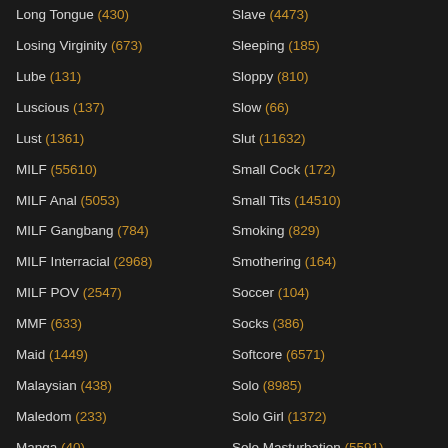Long Tongue (430)
Losing Virginity (673)
Lube (131)
Luscious (137)
Lust (1361)
MILF (55610)
MILF Anal (5053)
MILF Gangbang (784)
MILF Interracial (2968)
MILF POV (2547)
MMF (633)
Maid (1449)
Malaysian (438)
Maledom (233)
Manga (40)
Married (674)
Slave (4473)
Sleeping (185)
Sloppy (810)
Slow (66)
Slut (11632)
Small Cock (172)
Small Tits (14510)
Smoking (829)
Smothering (164)
Soccer (104)
Socks (386)
Softcore (6571)
Solo (8985)
Solo Girl (1372)
Solo Masturbation (5591)
Son (1305)